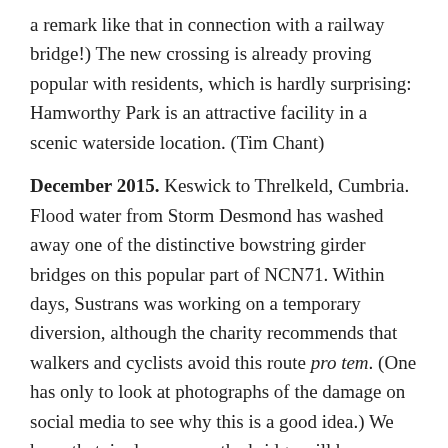a remark like that in connection with a railway bridge!) The new crossing is already proving popular with residents, which is hardly surprising: Hamworthy Park is an attractive facility in a scenic waterside location. (Tim Chant)
December 2015. Keswick to Threlkeld, Cumbria. Flood water from Storm Desmond has washed away one of the distinctive bowstring girder bridges on this popular part of NCN71. Within days, Sustrans was working on a temporary diversion, although the charity recommends that walkers and cyclists avoid this route pro tem. (One has only to look at photographs of the damage on social media to see why this is a good idea.) We hope that, in due course, the bridge will be replaced, as happened with the Navvies Bridge in nearby Workington – the original of which fell victim to similar flooding in 2009. (Mike Knight and Jeff Vinter)
December 2015. Bangor to Carmarthen, Wales. Possibly